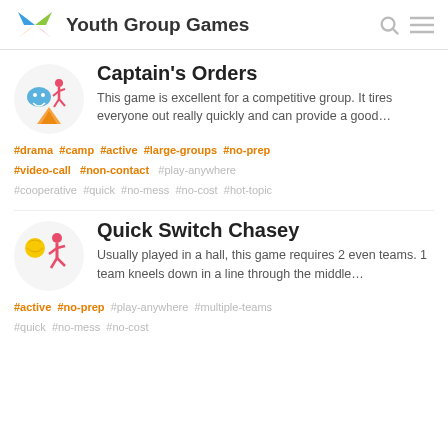Youth Group Games
Captain's Orders
This game is excellent for a competitive group. It tires everyone out really quickly and can provide a good…
#drama #camp #active #large-groups #no-prep #video-call #non-contact #play-anywhere #cooperative #quick #no-mess #no-cost #hot-topic
Quick Switch Chasey
Usually played in a hall, this game requires 2 even teams. 1 team kneels down in a line through the middle…
#active #no-prep #play-anywhere #multiple-teams #quick #no-mess #no-cost